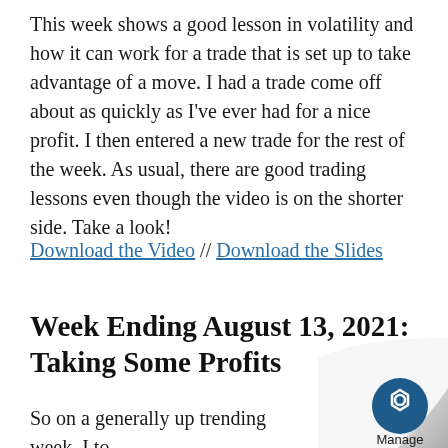This week shows a good lesson in volatility and how it can work for a trade that is set up to take advantage of a move. I had a trade come off about as quickly as I've ever had for a nice profit. I then entered a new trade for the rest of the week. As usual, there are good trading lessons even though the video is on the shorter side. Take a look!
Download the Video // Download the Slides
Week Ending August 13, 2021: Taking Some Profits
So on a generally up trending week, I to